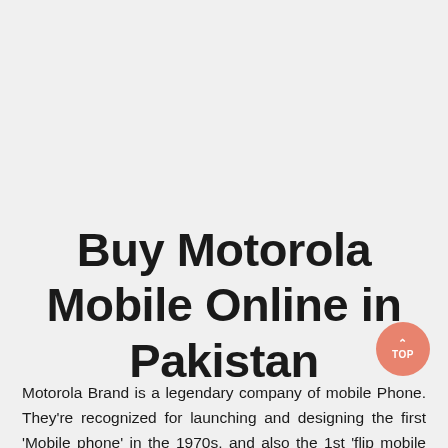Buy Motorola Mobile Online in Pakistan
Motorola Brand is a legendary company of mobile Phone. They're recognized for launching and designing the first 'Mobile phone' in the 1970s, and also the 1st 'flip mobile phone' as well as 'clamshell mobile phone' in the 1990s. Motorola faced major challenges in the initial 2010s, other than it was bought and also saved by Google in the year